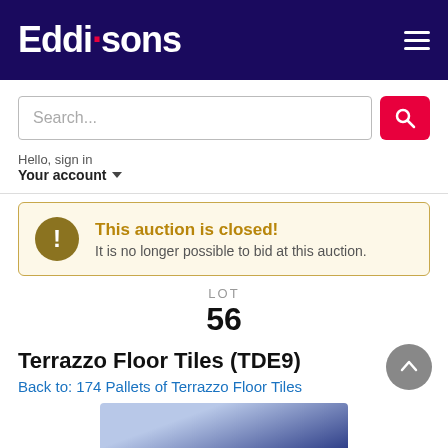Eddisons
Search...
Hello, sign in
Your account
This auction is closed!
It is no longer possible to bid at this auction.
LOT
56
Terrazzo Floor Tiles (TDE9)
Back to: 174 Pallets of Terrazzo Floor Tiles
[Figure (photo): Partial photo of Terrazzo Floor Tiles at the bottom of the page]